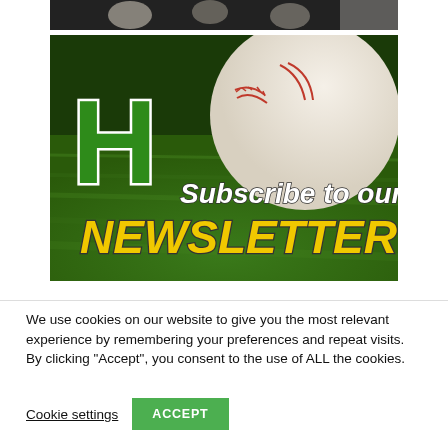[Figure (photo): Top partial image showing baseball-related items and a player against dark background]
[Figure (illustration): Newsletter subscription banner with green letter H logo on baseball field background, text 'Subscribe to our NEWSLETTER' in white italic and yellow bold italic]
We use cookies on our website to give you the most relevant experience by remembering your preferences and repeat visits. By clicking "Accept", you consent to the use of ALL the cookies.
Cookie settings  ACCEPT